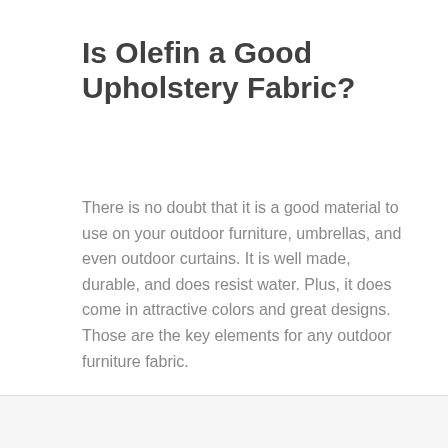Is Olefin a Good Upholstery Fabric?
There is no doubt that it is a good material to use on your outdoor furniture, umbrellas, and even outdoor curtains. It is well made, durable, and does resist water. Plus, it does come in attractive colors and great designs. Those are the key elements for any outdoor furniture fabric.